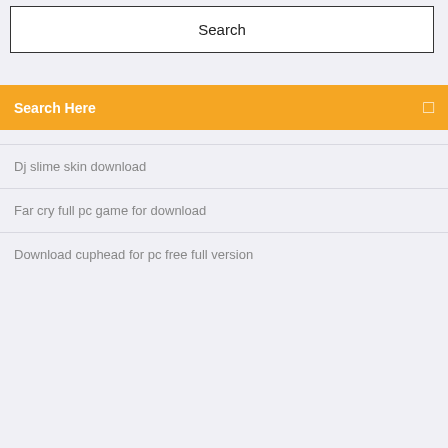[Figure (screenshot): Search box UI element with border and 'Search' label centered inside]
Search Here
Dj slime skin download
Far cry full pc game for download
Download cuphead for pc free full version